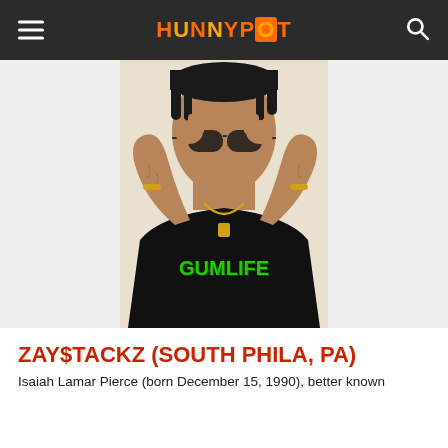HUNNYPOT
[Figure (photo): A young Black man wearing sunglasses, a black t-shirt with green 'GUMLIFE' text, gold chain necklace, gold bracelet on left wrist, and a gold/green bracelet on right wrist. He has tattoos on both arms and is holding his sunglasses with both hands, looking slightly downward.]
ZAY$TACKZ (SOUTH PHILA, PA)
Isaiah Lamar Pierce (born December 15, 1990), better known